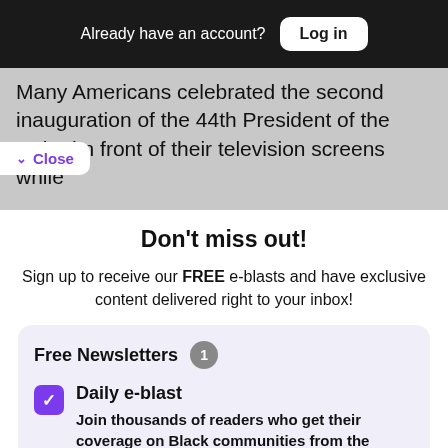Already have an account? Log in
Many Americans celebrated the second inauguration of the 44th President of the United n front of their television screens while
Close
Don't miss out!
Sign up to receive our FREE e-blasts and have exclusive content delivered right to your inbox!
Free Newsletters 1
Daily e-blast
Join thousands of readers who get their coverage on Black communities from the media company who has been doing it